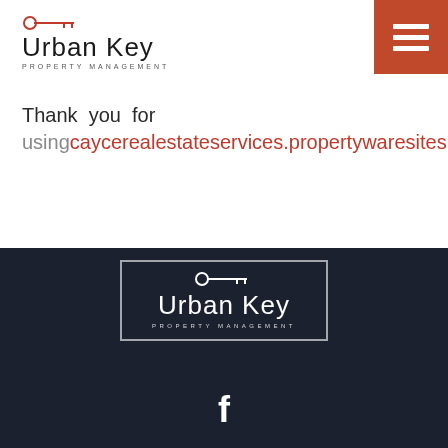[Figure (logo): Urban Key Property Management logo with key icon in orange/red, company name in dark sans-serif, and 'PROPERTY MANAGEMENT' subtitle]
[Figure (other): Orange hamburger menu button (three horizontal white lines) in top right corner]
Thank you for using caycerealestateservices.propertywaresites.com!
[Figure (logo): Urban Key Property Management logo in white on dark navy background, inside a white-bordered rectangle, with key icon above company name]
[Figure (other): Facebook icon (white 'f' letter) centered below the logo]